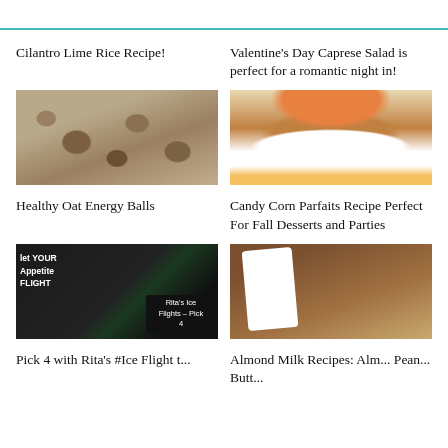Cilantro Lime Rice Recipe!
Valentine's Day Caprese Salad is perfect for a romantic night in!
[Figure (photo): Healthy oat energy balls on a tray]
Healthy Oat Energy Balls
[Figure (photo): Candy corn parfaits in glass cups with layers of orange and white]
Candy Corn Parfaits Recipe Perfect For Fall Desserts and Parties
[Figure (photo): Rita's Ice Flights promotional image with colorful ice cups]
Pick 4 with Rita's #Ice Flight t...
[Figure (photo): Almond milk recipe box with frozen bars]
Almond Milk Recipes: Alm... Pean... Butt...